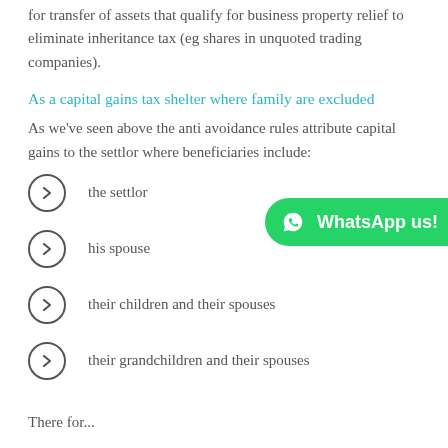for transfer of assets that qualify for business property relief to eliminate inheritance tax (eg shares in unquoted trading companies).
As a capital gains tax shelter where family are excluded
As we’ve seen above the anti avoidance rules attribute capital gains to the settlor where beneficiaries include:
the settlor
his spouse
their children and their spouses
their grandchildren and their spouses
There for...